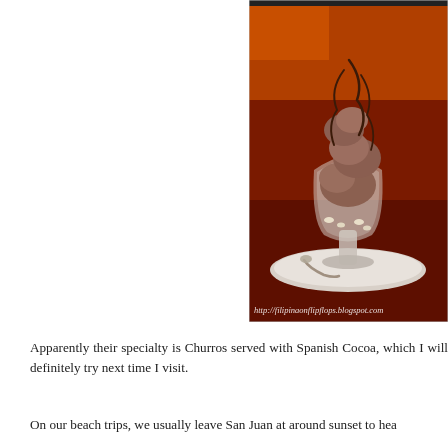[Figure (photo): A glass dessert cup with chocolate ice cream scoops drizzled with chocolate sauce, served on a white saucer with a spoon, on a dark red background. Watermark reads: http://filipinaonflipflops.blogspot.com]
Apparently their specialty is Churros served with Spanish Cocoa, which I will definitely try next time I visit.
On our beach trips, we usually leave San Juan at around sunset to hea